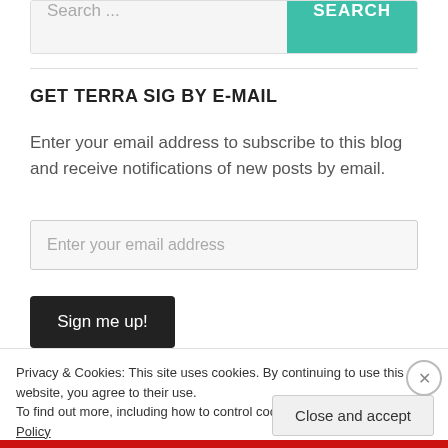Search ...
GET TERRA SIG BY E-MAIL
Enter your email address to subscribe to this blog and receive notifications of new posts by email.
Enter your email address
Sign me up!
Privacy & Cookies: This site uses cookies. By continuing to use this website, you agree to their use.
To find out more, including how to control cookies, see here: Cookie Policy
Close and accept